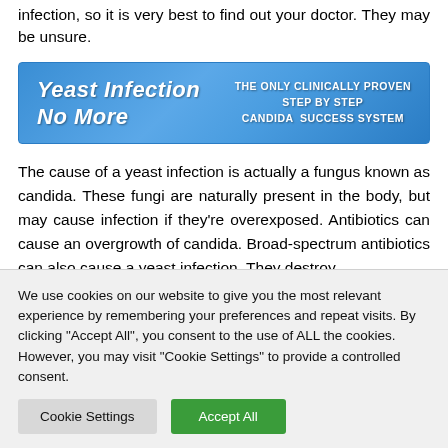infection, so it is very best to find out your doctor. They may be unsure.
[Figure (illustration): Blue banner advertisement for 'Yeast Infection No More' - THE ONLY CLINICALLY PROVEN STEP BY STEP CANDIDA SUCCESS SYSTEM]
The cause of a yeast infection is actually a fungus known as candida. These fungi are naturally present in the body, but may cause infection if they're overexposed. Antibiotics can cause an overgrowth of candida. Broad-spectrum antibiotics can also cause a yeast infection. They destroy
We use cookies on our website to give you the most relevant experience by remembering your preferences and repeat visits. By clicking "Accept All", you consent to the use of ALL the cookies. However, you may visit "Cookie Settings" to provide a controlled consent.